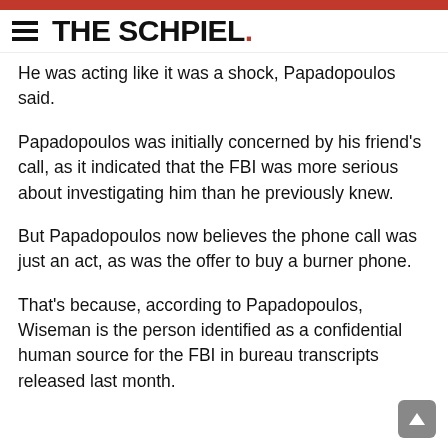THE SCHPIEL.
He was acting like it was a shock, Papadopoulos said.
Papadopoulos was initially concerned by his friend's call, as it indicated that the FBI was more serious about investigating him than he previously knew.
But Papadopoulos now believes the phone call was just an act, as was the offer to buy a burner phone.
That's because, according to Papadopoulos, Wiseman is the person identified as a confidential human source for the FBI in bureau transcripts released last month.